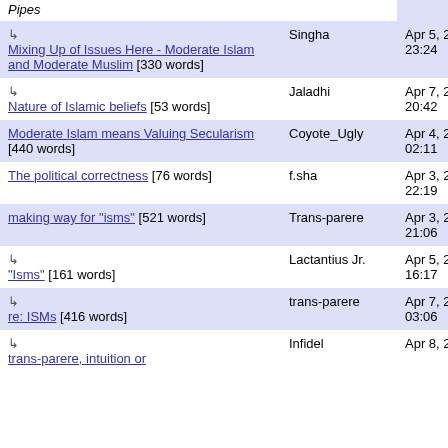| Title | Author | Date |
| --- | --- | --- |
| Pipes |  |  |
| ↳ Mixing Up of Issues Here - Moderate Islam and Moderate Muslim [330 words] | Singha | Apr 5, 2008 23:24 |
| ↳ Nature of Islamic beliefs [53 words] | Jaladhi | Apr 7, 2008 20:42 |
| Moderate Islam means Valuing Secularism [440 words] | Coyote_Ugly | Apr 4, 2008 02:11 |
| The political correctness [76 words] | f.sha | Apr 3, 2008 22:19 |
| making way for "isms" [521 words] | Trans-parere | Apr 3, 2008 21:06 |
| ↳ "Isms" [161 words] | Lactantius Jr. | Apr 5, 2008 16:17 |
| ↳ re: ISMs [416 words] | trans-parere | Apr 7, 2008 03:06 |
| ↳ trans-parere, intuition or ...[?? words] | Infidel | Apr 8, 2008 |